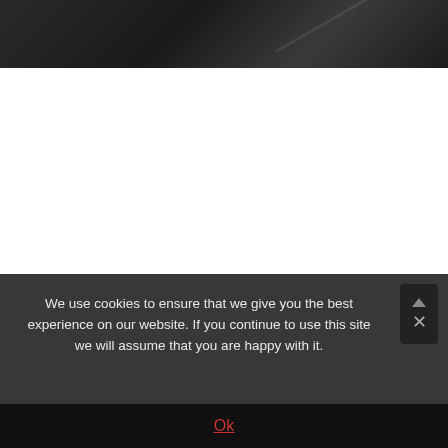[Figure (photo): Dark-toned photo strip at the top of the page, showing a dark grey/black background with faint diagonal line or edge, possibly a close-up of a dark surface or vehicle.]
We use cookies to ensure that we give you the best experience on our website. If you continue to use this site we will assume that you are happy with it.
Ok